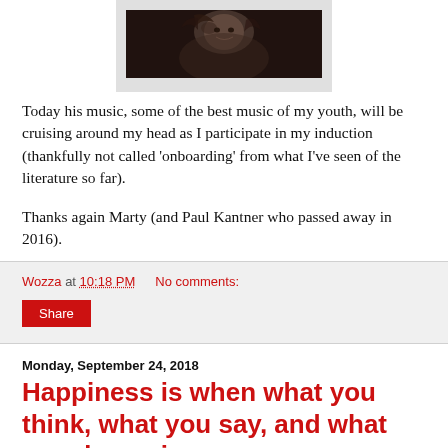[Figure (photo): Black and white photograph of a person with long hair, shown from roughly shoulder up, looking upward, with a moody/dramatic tone.]
Today his music, some of the best music of my youth, will be cruising around my head as I participate in my induction (thankfully not called 'onboarding' from what I've seen of the literature so far).
Thanks again Marty (and Paul Kantner who passed away in 2016).
Wozza at 10:18 PM    No comments:
Share
Monday, September 24, 2018
Happiness is when what you think, what you say, and what you do are in